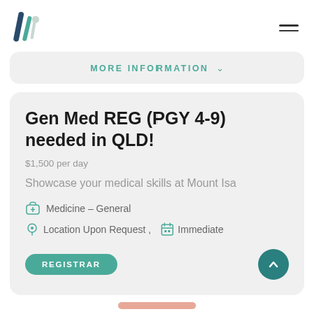Logo and navigation header
MORE INFORMATION
Gen Med REG (PGY 4-9) needed in QLD!
$1,500 per day
Showcase your medical skills at Mount Isa
Medicine – General
Location Upon Request ,    Immediate
REGISTRAR